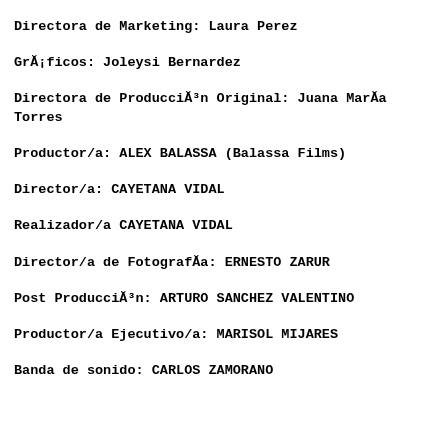Directora de Marketing: Laura Perez
Gráficos: Joleysi Bernardez
Directora de Producción Original: Juana María Torres
Productor/a: ALEX BALASSA (Balassa Films)
Director/a: CAYETANA VIDAL
Realizador/a CAYETANA VIDAL
Director/a de Fotografía: ERNESTO ZARUR
Post Producción: ARTURO SANCHEZ VALENTINO
Productor/a Ejecutivo/a: MARISOL MIJARES
Banda de sonido: CARLOS ZAMORANO